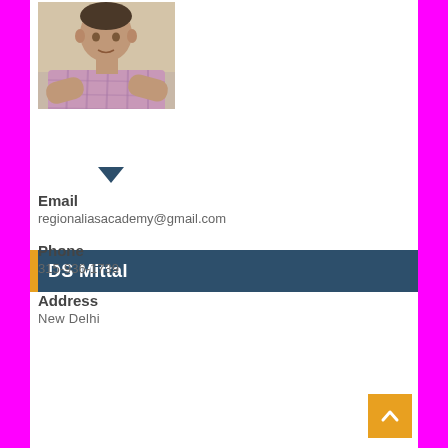[Figure (photo): Portrait photo of a man in a checkered/plaid shirt with arms crossed, seated against a light background]
DS Mittal
Email
regionaliasacademy@gmail.com
Phone
315-936-1739
Address
New Delhi